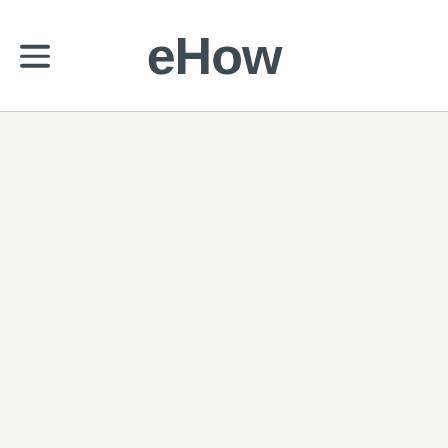eHow
[Figure (other): Empty content area with light gray background below the eHow header navigation bar]